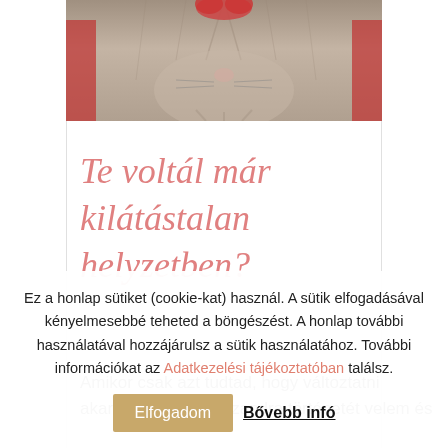[Figure (photo): Close-up photo of a cat's face/paws with red heart-shaped element, top portion visible]
Te voltál már kilátástalan helyzetben?
Amikor csak azt tudtad, hogy változtatni akarsz? Olvasd el Szandra történetét velem és
Ez a honlap sütiket (cookie-kat) használ. A sütik elfogadásával kényelmesebbé teheted a böngészést. A honlap további használatával hozzájárulsz a sütik használatához. További információkat az Adatkezelési tájékoztatóban találsz.
Elfogadom   Bővebb infó